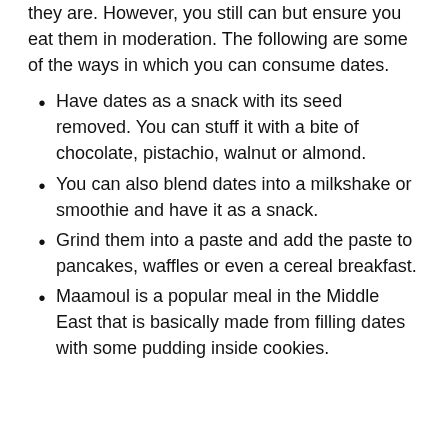they are. However, you still can but ensure you eat them in moderation. The following are some of the ways in which you can consume dates.
Have dates as a snack with its seed removed. You can stuff it with a bite of chocolate, pistachio, walnut or almond.
You can also blend dates into a milkshake or smoothie and have it as a snack.
Grind them into a paste and add the paste to pancakes, waffles or even a cereal breakfast.
Maamoul is a popular meal in the Middle East that is basically made from filling dates with some pudding inside cookies.